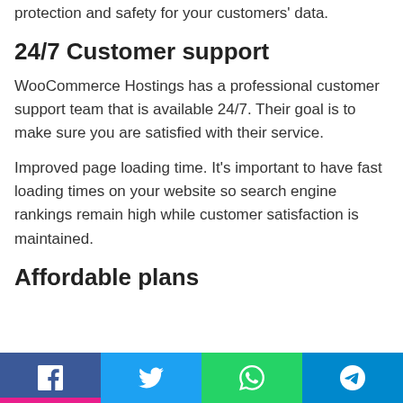protection and safety for your customers' data.
24/7 Customer support
WooCommerce Hostings has a professional customer support team that is available 24/7. Their goal is to make sure you are satisfied with their service.
Improved page loading time. It's important to have fast loading times on your website so search engine rankings remain high while customer satisfaction is maintained.
Affordable plans
Social share buttons: Facebook, Twitter, WhatsApp, Telegram